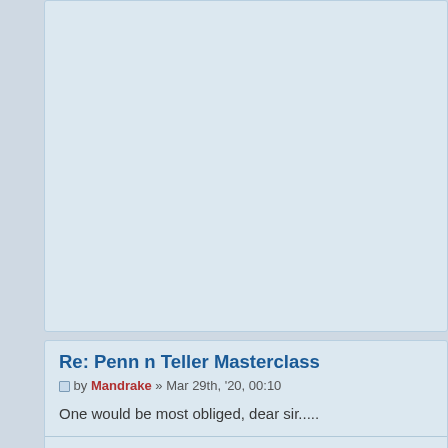Re: Penn n Teller Masterclass
by Mandrake » Mar 29th, '20, 00:10
One would be most obliged, dear sir.....
Re: Penn n Teller Masterclass
by Lady of Mystery » Mar 30th, '20, 15:58
Udemy is pretty good, I've done quite a few courses on there but don't ev price, they have a sale every other day.